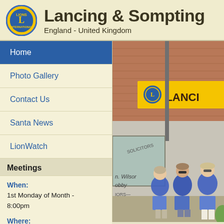Lancing & Sompting
England - United Kingdom
Home
Photo Gallery
Contact Us
Santa News
LionWatch
Meetings
When:
1st Monday of Month - 8:00pm

Where:
Lions Community Hall, Roberts Road, Lancing, West Sussex. Reg Charity 800249
[Figure (photo): Photo of three women in blue Lions aprons standing in front of a shop with a yellow Lions sign reading LANCI (Lancing Lions), brick building facade visible]